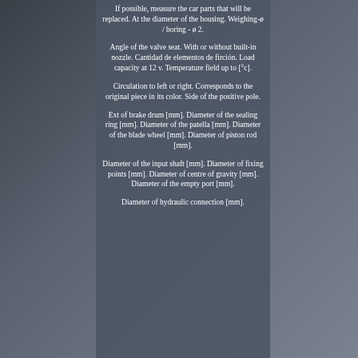If possible, measure the car parts that will be replaced. At the diameter of the housing. Weighing-ø / boring - ø 2.
Angle of the valve seat. With or without built-in nozzle. Cantidad de elementos de firción. Load capacity at 12 v. Temperature field up to [°c].
Circulation to left or right. Corresponds to the original piece in its color. Side of the positive pole.
Ext of brake drum [mm]. Diameter of the sealing ring [mm]. Diameter of the patella [mm]. Diameter of the blade wheel [mm]. Diameter of piston rod [mm].
Diameter of the input shaft [mm]. Diameter of fixing points [mm]. Diameter of centre of gravity [mm]. Diameter of the empty port [mm].
Diameter of hydraulic connection [mm].